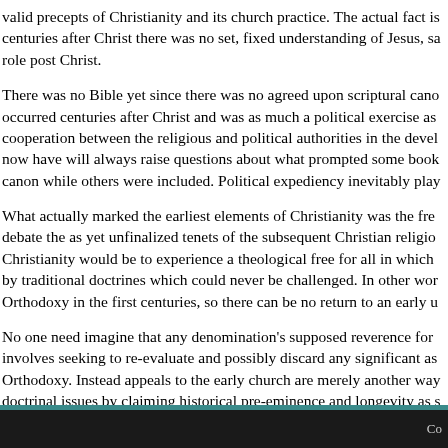valid precepts of Christianity and its church practice. The actual fact is that for centuries after Christ there was no set, fixed understanding of Jesus, sa... role post Christ.
There was no Bible yet since there was no agreed upon scriptural cano... occurred centuries after Christ and was as much a political exercise as... cooperation between the religious and political authorities in the devel... now have will always raise questions about what prompted some book... canon while others were included. Political expediency inevitably play...
What actually marked the earliest elements of Christianity was the fre... debate the as yet unfinalized tenets of the subsequent Christian religio... Christianity would be to experience a theological free for all in which... by traditional doctrines which could never be challenged. In other wor... Orthodoxy in the first centuries, so there can be no return to an early u...
No one need imagine that any denomination's supposed reverence for... involves seeking to re-evaluate and possibly discard any significant as... Orthodoxy. Instead appeals to the early church are merely another way... doctrinal issues by claiming historical pre-eminence and longevity as s... theology. Such appeals simply ignore the theological and political real...
Co